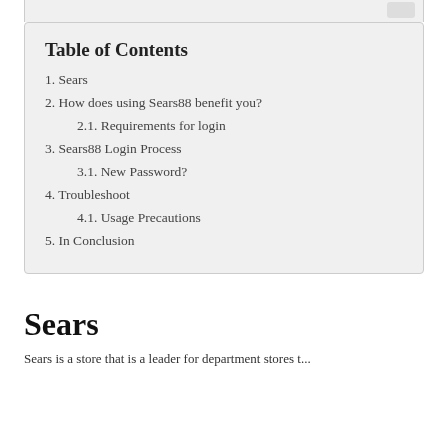Table of Contents
1. Sears
2. How does using Sears88 benefit you?
2.1. Requirements for login
3. Sears88 Login Process
3.1. New Password?
4. Troubleshoot
4.1. Usage Precautions
5. In Conclusion
Sears
Sears is a store that is a leader for department stores t...